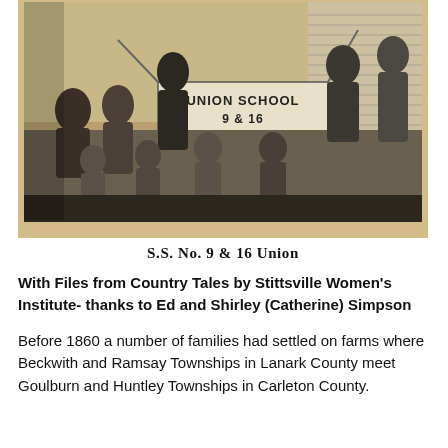[Figure (photo): Black and white historical photograph of a group of children and adults posing outside a building, holding a banner that reads 'UNION SCHOOL 9 & 16 GOULBOURN'. The photo appears to be from the early-to-mid 20th century.]
S.S. No. 9 & 16 Union
With Files from Country Tales by Stittsville Women's Institute- thanks to Ed and Shirley (Catherine) Simpson
Before 1860 a number of families had settled on farms where Beckwith and Ramsay Townships in Lanark County meet Goulburn and Huntley Townships in Carleton County.